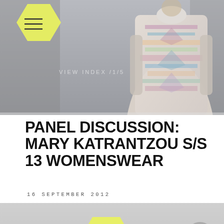[Figure (photo): Fashion runway photo showing a model wearing an ornate patterned top/dress with colorful geometric and aztec-style print in pale blue, pink, and mint tones. A yellow-green hexagon with hamburger menu icon overlays the top-left. Text 'VIEW INDEX /1/5' appears in faded white over the image.]
PANEL DISCUSSION: MARY KATRANTZOU S/S 13 WOMENSWEAR
16 SEPTEMBER 2012
[Figure (photo): Black and white photo of four women seated at a table in discussion (panel discussion setting). A yellow-green hexagon with a play button triangle overlays the left side of the image.]